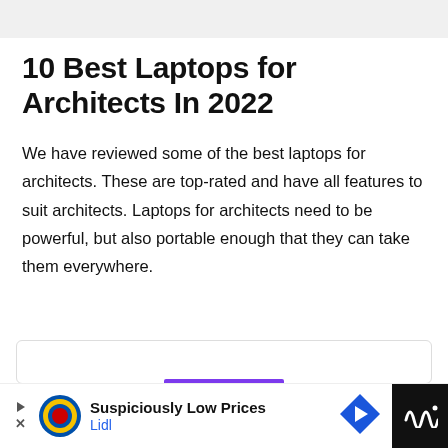10 Best Laptops for Architects In 2022
We have reviewed some of the best laptops for architects. These are top-rated and have all features to suit architects. Laptops for architects need to be powerful, but also portable enough that they can take them everywhere.
[Figure (screenshot): Partial view of a card or embedded widget with a purple bar at the bottom, partially visible.]
Suspiciously Low Prices
Lidl